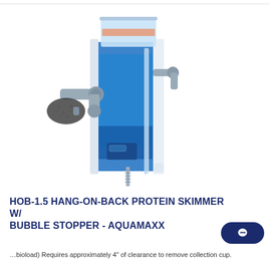[Figure (photo): A blue HOB-1.5 Hang-On-Back Protein Skimmer with Bubble Stopper by AquaMaxx. The device is a tall rectangular blue acrylic chamber with a collection cup on top (containing pinkish-orange liquid), a gray elbow pipe fitting on the left with a cylindrical black foam/sponge filter, a vertical clear tube in the center-right, and a small blue pump at the bottom. The unit appears to hang on the back of an aquarium.]
HOB-1.5 HANG-ON-BACK PROTEIN SKIMMER W/ BUBBLE STOPPER - AQUAMAXX
…bioload) Requires approximately 4" of clearance to remove collection cup.